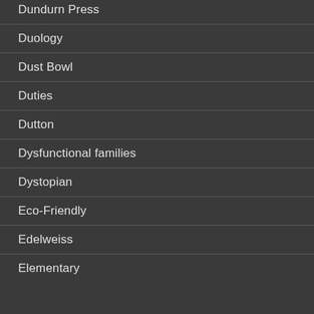Dundurn Press
Duology
Dust Bowl
Duties
Dutton
Dysfunctional families
Dystopian
Eco-Friendly
Edelweiss
Elementary